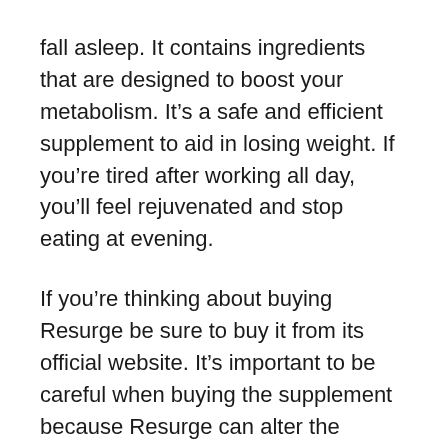fall asleep. It contains ingredients that are designed to boost your metabolism. It's a safe and efficient supplement to aid in losing weight. If you're tired after working all day, you'll feel rejuvenated and stop eating at evening.
If you're thinking about buying Resurge be sure to buy it from its official website. It's important to be careful when buying the supplement because Resurge can alter the composition of other drugs. It is recommended to read the label carefully before purchasing the supplement. If you're purchasing Resurge for yourself, make sure that you're not just wasting your money. Resurge is safe and efficient. You'll feel great in the blink of an eye!